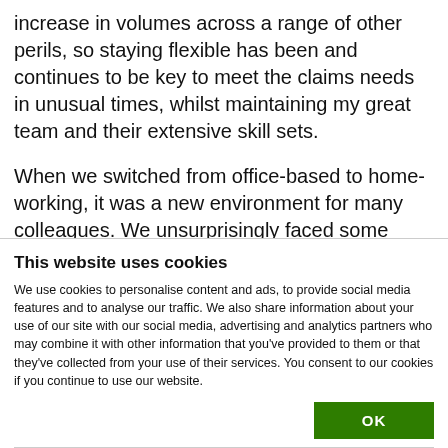increase in volumes across a range of other perils, so staying flexible has been and continues to be key to meet the claims needs in unusual times, whilst maintaining my great team and their extensive skill sets.
When we switched from office-based to home-working, it was a new environment for many colleagues. We unsurprisingly faced some hurdles at the start, but received fantastic support from our
This website uses cookies
We use cookies to personalise content and ads, to provide social media features and to analyse our traffic. We also share information about your use of our site with our social media, advertising and analytics partners who may combine it with other information that you've provided to them or that they've collected from your use of their services. You consent to our cookies if you continue to use our website.